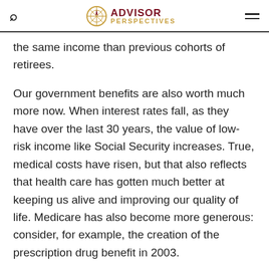ADVISOR PERSPECTIVES
the same income than previous cohorts of retirees.
Our government benefits are also worth much more now. When interest rates fall, as they have over the last 30 years, the value of low-risk income like Social Security increases. True, medical costs have risen, but that also reflects that health care has gotten much better at keeping us alive and improving our quality of life. Medicare has also become more generous: consider, for example, the creation of the prescription drug benefit in 2003.
It's also true you can expect to live longer in